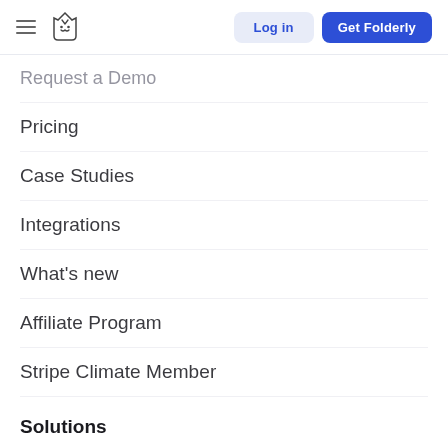Log in | Get Folderly
Request a Demo
Pricing
Case Studies
Integrations
What's new
Affiliate Program
Stripe Climate Member
Solutions
Folderly Premium
Folderly Basic
Email Deliverability Audit
SPF Generator